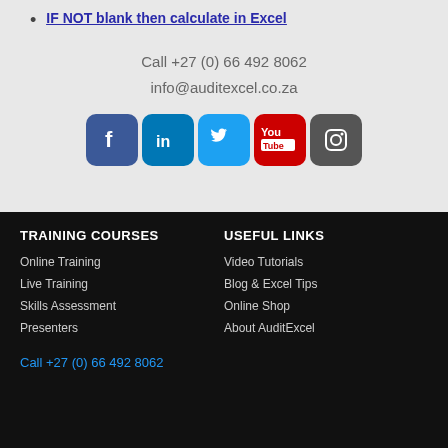IF NOT blank then calculate in Excel
Call +27 (0) 66 492 8062
info@auditexcel.co.za
[Figure (illustration): Social media icons: Facebook, LinkedIn, Twitter, YouTube, Instagram]
TRAINING COURSES
USEFUL LINKS
Online Training
Video Tutorials
Live Training
Blog & Excel Tips
Skills Assessment
Online Shop
Presenters
About AuditExcel
Call +27 (0) 66 492 8062